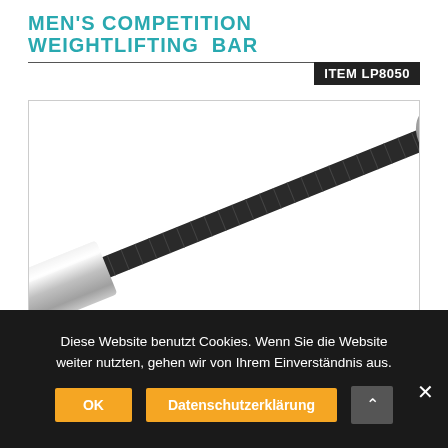MEN'S COMPETITION WEIGHTLIFTING BAR
ITEM LP8050
[Figure (photo): A men's competition weightlifting bar shown diagonally, with a chrome/silver sleeve on the lower left and a dark knurled bar extending to the upper right, with a grey end cap visible. A teal/green color indicator disc is visible at the bottom left end.]
Diese Website benutzt Cookies. Wenn Sie die Website weiter nutzten, gehen wir von Ihrem Einverständnis aus.